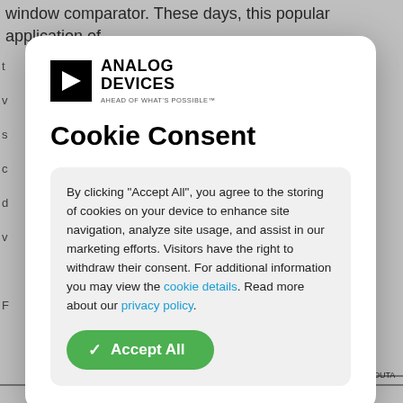window comparator. These days, this popular application of
[Figure (logo): Analog Devices logo with triangle icon and tagline AHEAD OF WHAT'S POSSIBLE]
Cookie Consent
By clicking “Accept All”, you agree to the storing of cookies on your device to enhance site navigation, analyze site usage, and assist in our marketing efforts. Visitors have the right to withdraw their consent. For additional information you may view the cookie details. Read more about our privacy policy.
[Figure (schematic): Partial circuit schematic at bottom of page showing resistor R1A, labels +INA, VDD, OUTA with circuit connections]